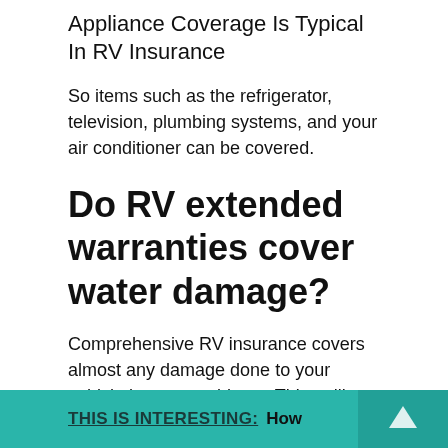Appliance Coverage Is Typical In RV Insurance
So items such as the refrigerator, television, plumbing systems, and your air conditioner can be covered.
Do RV extended warranties cover water damage?
Comprehensive RV insurance covers almost any damage done to your vehicle by non-accidents. Things like fire, hail, and water damage are all covered under a comprehensive coverage policy.
THIS IS INTERESTING:  How